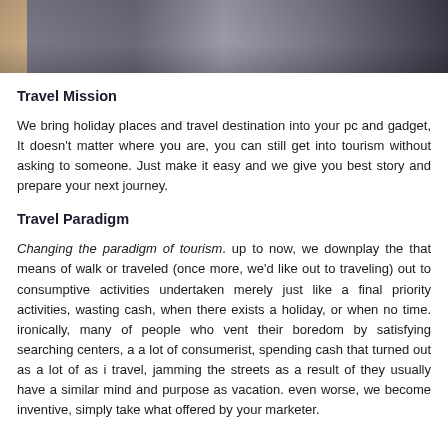[Figure (photo): A photo showing people standing, cropped to show mostly their bodies/legs from waist down, outdoor setting with a cobblestone or paved surface.]
Travel Mission
We bring holiday places and travel destination into your pc and gadget, It doesn't matter where you are, you can still get into tourism without asking to someone. Just make it easy and we give you best story and prepare your next journey.
Travel Paradigm
Changing the paradigm of tourism. up to now, we downplay the that means of walk or traveled (once more, we'd like out to traveling) out to consumptive activities undertaken merely just like a final priority activities, wasting cash, when there exists a holiday, or when no time. ironically, many of people who vent their boredom by satisfying searching centers, a a lot of consumerist, spending cash that turned out as a lot of as i travel, jamming the streets as a result of they usually have a similar mind and purpose as vacation. even worse, we become inventive, simply take what offered by your marketer.